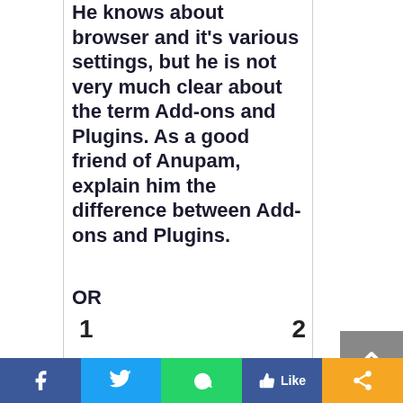He knows about browser and it's various settings, but he is not very much clear about the term Add-ons and Plugins. As a good friend of Anupam, explain him the difference between Add-ons and Plugins.
OR
Aman is a brilliant child of class VIII.
1    2